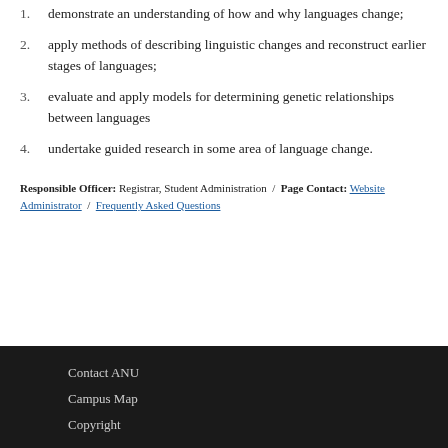1. demonstrate an understanding of how and why languages change;
2. apply methods of describing linguistic changes and reconstruct earlier stages of languages;
3. evaluate and apply models for determining genetic relationships between languages
4. undertake guided research in some area of language change.
Responsible Officer: Registrar, Student Administration / Page Contact: Website Administrator / Frequently Asked Questions
Contact ANU
Campus Map
Copyright